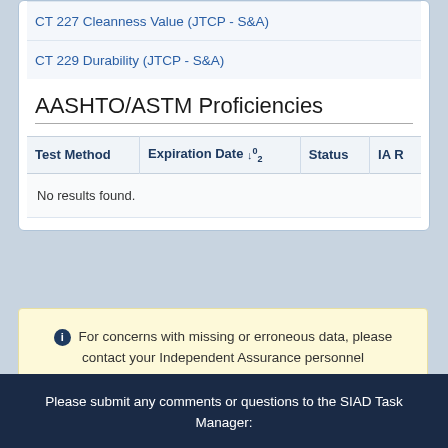CT 227 Cleanness Value (JTCP - S&A)
CT 229 Durability (JTCP - S&A)
AASHTO/ASTM Proficiencies
| Test Method | Expiration Date ↓ | Status | IA R |
| --- | --- | --- | --- |
| No results found. |  |  |  |
For concerns with missing or erroneous data, please contact your Independent Assurance personnel
Please submit any comments or questions to the SIAD Task Manager: